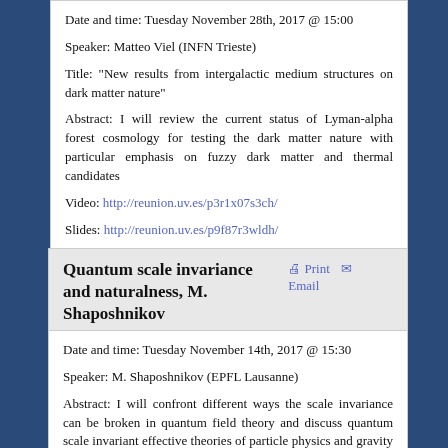Date and time: Tuesday November 28th, 2017 @ 15:00
Speaker: Matteo Viel (INFN Trieste)
Title: "New results from intergalactic medium structures on dark matter nature"
Abstract: I will review the current status of Lyman-alpha forest cosmology for testing the dark matter nature with particular emphasis on fuzzy dark matter and thermal candidates
Video: http://reunion.uv.es/p3r1x07s3ch/
Slides: http://reunion.uv.es/p9f87r3wldh/
Quantum scale invariance and naturalness, M. Shaposhnikov
Date and time: Tuesday November 14th, 2017 @ 15:30
Speaker: M. Shaposhnikov (EPFL Lausanne)
Abstract: I will confront different ways the scale invariance can be broken in quantum field theory and discuss quantum scale invariant effective theories of particle physics and gravity and their relevance to the hierarchy problem.